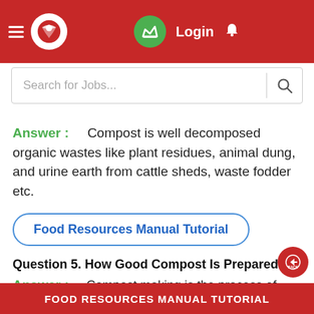Login
Search for Jobs...
Answer : Compost is well decomposed organic wastes like plant residues, animal dung, and urine earth from cattle sheds, waste fodder etc.
Food Resources Manual Tutorial
Question 5. How Good Compost Is Prepared?
Answer : Compost making is the process of decomposing organic wastes in a pit. Site for compost making is selected should be at a high leve
FOOD RESOURCES MANUAL TUTORIAL